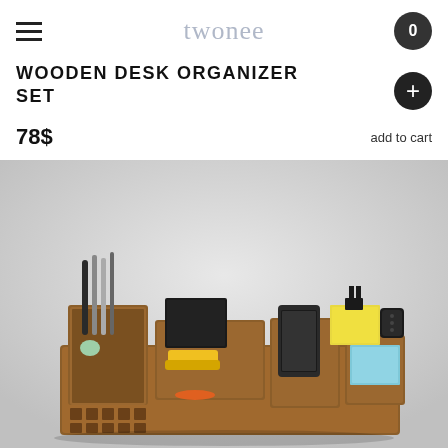twonee
WOODEN DESK ORGANIZER SET
78$
add to cart
[Figure (photo): Wooden desk organizer set filled with pens, a wallet, a smartphone, sticky notes, binder clips, a smartwatch, scissors, paperclips, and a small eraser on a light gray background.]